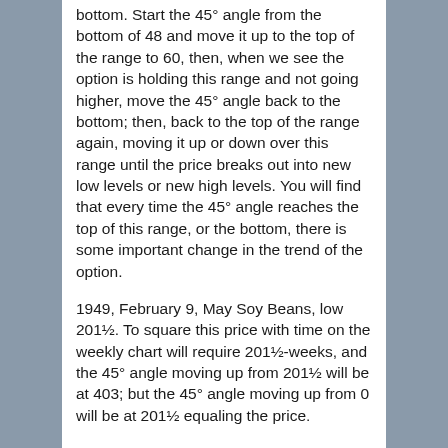bottom. Start the 45° angle from the bottom of 48 and move it up to the top of the range to 60, then, when we see the option is holding this range and not going higher, move the 45° angle back to the bottom; then, back to the top of the range again, moving it up or down over this range until the price breaks out into new low levels or new high levels. You will find that every time the 45° angle reaches the top of this range, or the bottom, there is some important change in the trend of the option.
1949, February 9, May Soy Beans, low 201½. To square this price with time on the weekly chart will require 201½-weeks, and the 45° angle moving up from 201½ will be at 403; but the 45° angle moving up from 0 will be at 201½ equaling the price.